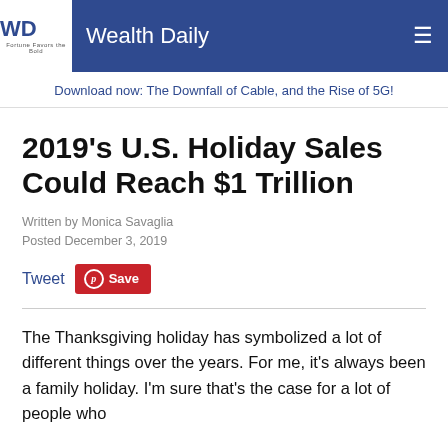Wealth Daily
Download now: The Downfall of Cable, and the Rise of 5G!
2019's U.S. Holiday Sales Could Reach $1 Trillion
Written by Monica Savaglia
Posted December 3, 2019
Tweet  Save
The Thanksgiving holiday has symbolized a lot of different things over the years. For me, it's always been a family holiday. I'm sure that's the case for a lot of people who